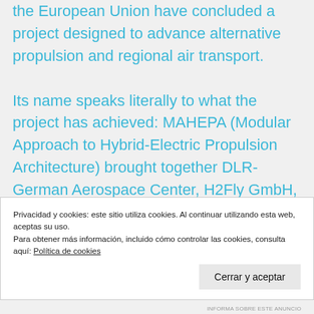the European Union have concluded a project designed to advance alternative propulsion and regional air transport.

Its name speaks literally to what the project has achieved: MAHEPA (Modular Approach to Hybrid-Electric Propulsion Architecture) brought together DLR-German Aerospace Center, H2Fly GmbH, Compact Dynamics GmbH, Politecnico di Milano, TU Delft, and researchers from University of Ulm and
Privacidad y cookies: este sitio utiliza cookies. Al continuar utilizando esta web, aceptas su uso.
Para obtener más información, incluido cómo controlar las cookies, consulta aquí: Política de cookies
Cerrar y aceptar
INFORMA SOBRE ESTE ANUNCIO